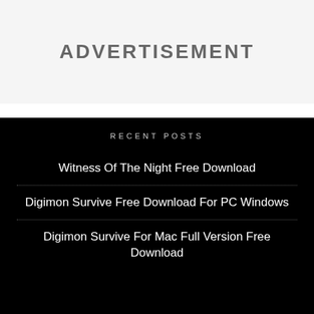ADVERTISEMENT
RECENT POSTS
Witness Of The Night Free Download
Digimon Survive Free Download For PC Windows
Digimon Survive For Mac Full Version Free Download